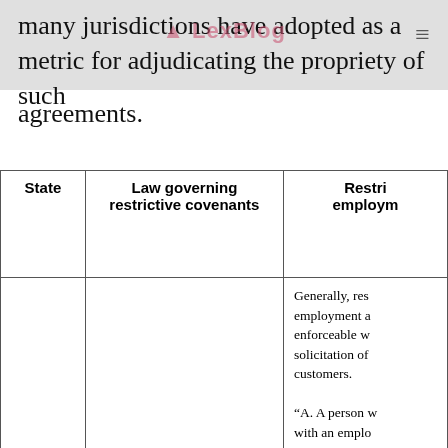LexBlog
many jurisdictions have adopted as a metric for adjudicating the propriety of such agreements.
| State | Law governing restrictive covenants | Restrictive employment... |
| --- | --- | --- |
|  |  | Generally, res employment a enforceable w solicitation of customers.

"A. A person w with an emplo verbally, not t after the empl |